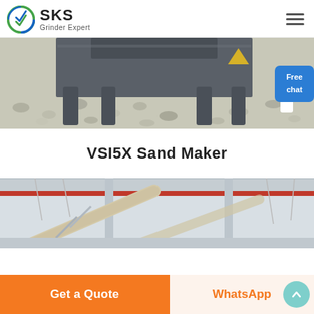SKS Grinder Expert
[Figure (photo): Industrial sand maker machine on gravel/crushed stone ground, with a person in white lab coat visible on the right side. A blue 'Free chat' button overlay is present on the right side.]
VSI5X Sand Maker
[Figure (photo): Interior of an industrial facility with conveyor belts, structural columns and red-striped overhead beams.]
Get a Quote
WhatsApp